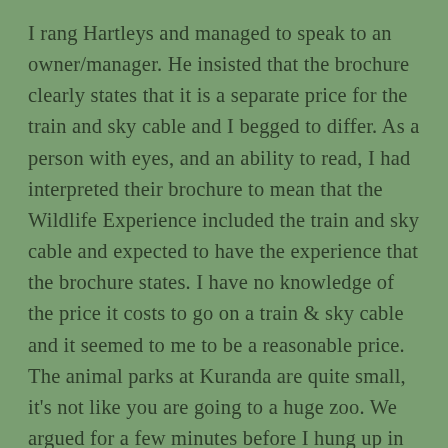I rang Hartleys and managed to speak to an owner/manager. He insisted that the brochure clearly states that it is a separate price for the train and sky cable and I begged to differ. As a person with eyes, and an ability to read, I had interpreted their brochure to mean that the Wildlife Experience included the train and sky cable and expected to have the experience that the brochure states. I have no knowledge of the price it costs to go on a train & sky cable and it seemed to me to be a reasonable price. The animal parks at Kuranda are quite small, it's not like you are going to a huge zoo. We argued for a few minutes before I hung up in frustration. I felt like he was insinuating that I was an idiot (which is a fair call in some situations.. but not this one!!)
He may have thought that was the end of it.... but it